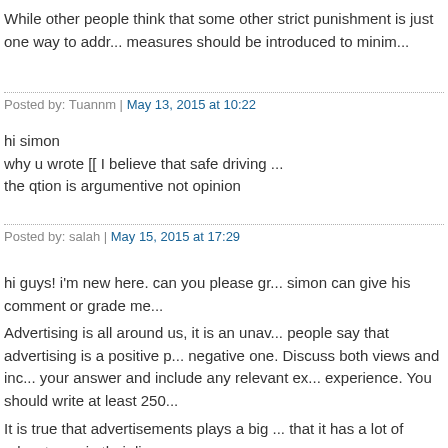While other people think that some other strict punishment is just one way to addr... measures should be introduced to minim...
Posted by: Tuannm | May 13, 2015 at 10:22
hi simon
why u wrote [[ I believe that safe driving ...
the qtion is argumentive not opinion
Posted by: salah | May 15, 2015 at 17:29
hi guys! i'm new here. can you please gr... simon can give his comment or grade me...
Advertising is all around us, it is an unav... people say that advertising is a positive p... negative one. Discuss both views and inc... your answer and include any relevant ex... experience. You should write at least 250...
It is true that advertisements plays a big ... that it has a lot of advantages in their live...